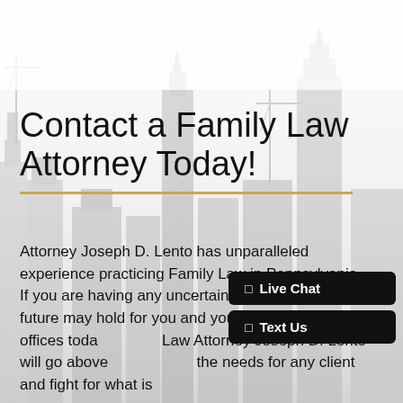[Figure (photo): Grayscale photo of a Philadelphia cityscape with tall skyscrapers and construction cranes, faded/light treatment used as background]
Contact a Family Law Attorney Today!
Attorney Joseph D. Lento has unparalleled experience practicing Family Law in Pennsylvania. If you are having any uncertainties about what the future may hold for you and your family, contact our offices today. Family Law Attorney Joseph D. Lento will go above and beyond the needs for any client and fight for what is